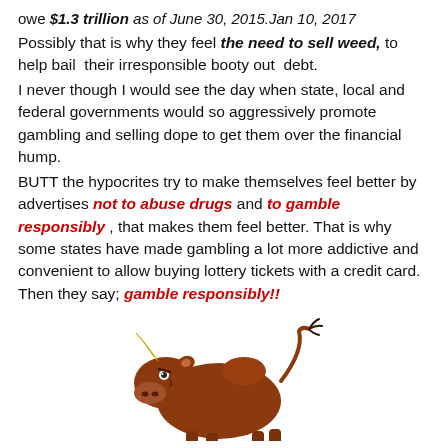owe $1.3 trillion as of June 30, 2015.Jan 10, 2017
Possibly that is why they feel the need to sell weed, to help bail their irresponsible booty out debt.
I never though I would see the day when state, local and federal governments would so aggressively promote gambling and selling dope to get them over the financial hump.
BUTT the hypocrites try to make themselves feel better by advertises not to abuse drugs and to gamble responsibly , that makes them feel better. That is why some states have made gambling a lot more addictive and convenient to allow buying lottery tickets with a credit card. Then they say; gamble responsibly!!
[Figure (illustration): Cartoon illustration of an angry brown bull]